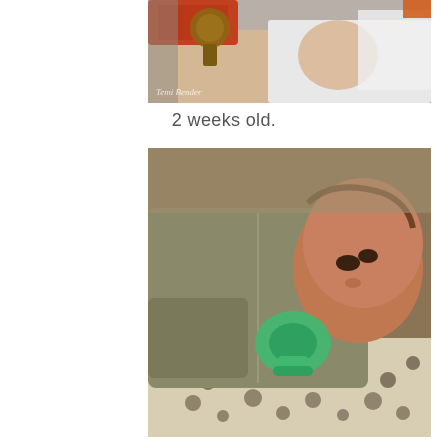[Figure (photo): Close-up photo of an adult hand holding a newborn baby wearing a white outfit and an orange/red knit hat with a wooden toy visible; watermark text 'Temi Bender' in lower left corner]
2 weeks old.
[Figure (photo): Photo of a newborn baby approximately 2 weeks old lying on a floral patterned blanket wearing a tan/olive zip-up sleeper with a green pacifier in mouth, looking toward the camera]